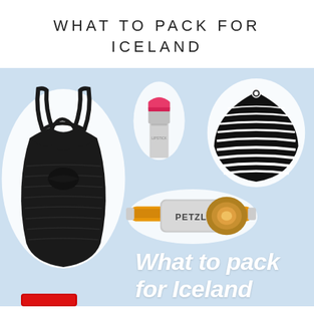WHAT TO PACK FOR ICELAND
[Figure (infographic): Light blue background collage showing: a black one-piece swimsuit on the left, a silver and pink lipstick in the upper center, a black and white striped beanie hat on the upper right, a Petzl yellow and grey headlamp in the center, and white italic script text reading 'What to pack for Iceland' in the lower right. A red item partially visible at the bottom left.]